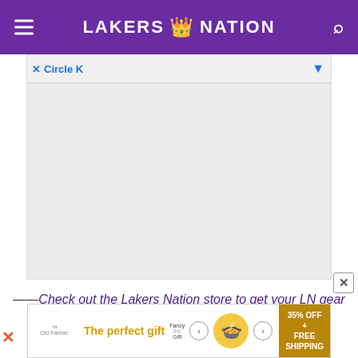LAKERS NATION
[Figure (screenshot): Ad banner placeholder with Circle K label, close X and dropdown arrow]
[Figure (screenshot): Large grey advertisement placeholder area]
——Check out the Lakers Nation store to get your LN gear and show off your Lakers pride!——
[Figure (screenshot): Bottom advertisement banner: The perfect gift, 35% OFF + FREE SHIPPING, with product image and navigation arrows]